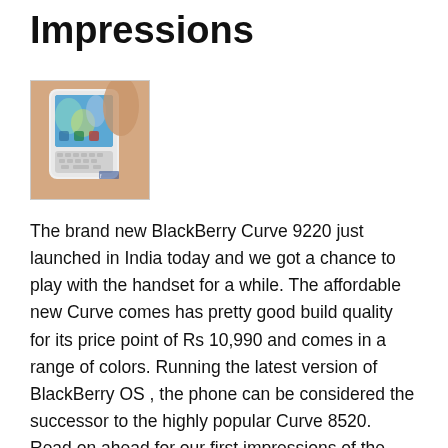Impressions
[Figure (photo): Hand holding a white BlackBerry Curve 9220 smartphone showing the home screen with colorful icons]
The brand new BlackBerry Curve 9220 just launched in India today and we got a chance to play with the handset for a while. The affordable new Curve comes has pretty good build quality for its price point of Rs 10,990 and comes in a range of colors. Running the latest version of BlackBerry OS , the phone can be considered the successor to the highly popular Curve 8520. Read on ahead for our first impressions of the Curve 9220.